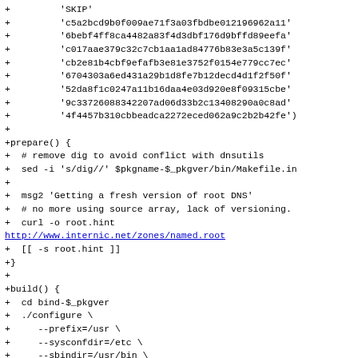Diff/patch code showing additions to a PKGBUILD file including sha256sums, prepare(), and build() functions with curl download and configure options